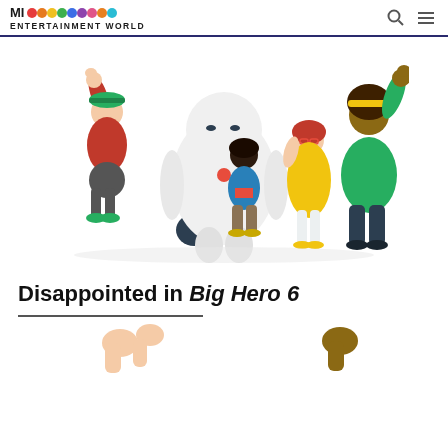MI ENTERTAINMENT WORLD
[Figure (illustration): Big Hero 6 animated characters group pose: six characters including Baymax (large white inflatable robot), Hiro (boy in blue hoodie and red shirt), and four other team members posing together on white background]
Disappointed in Big Hero 6
[Figure (illustration): Partial bottom cropped view of Big Hero 6 characters, showing fists raised]